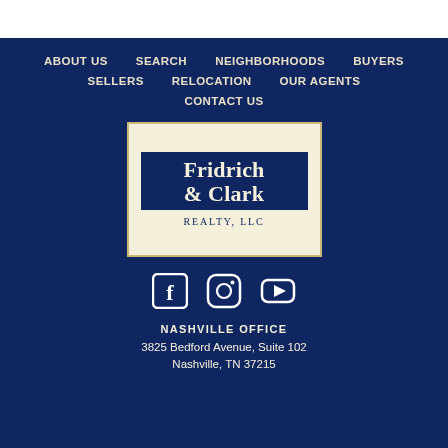ABOUT US
SEARCH
NEIGHBORHOODS
BUYERS
SELLERS
RELOCATION
OUR AGENTS
CONTACT US
[Figure (logo): Fridrich & Clark Realty, LLC logo on cream background with navy inner box]
[Figure (infographic): Facebook, Instagram, and YouTube social media icons in white]
NASHVILLE OFFICE
3825 Bedford Avenue, Suite 102
Nashville, TN 37215